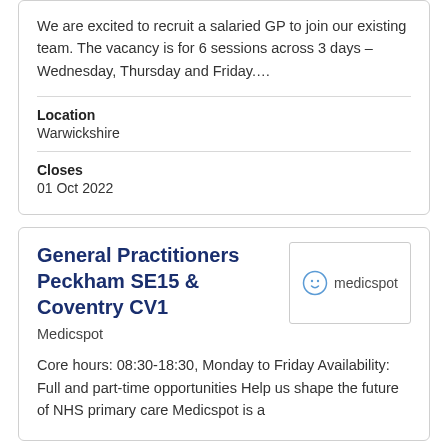We are excited to recruit a salaried GP to join our existing team. The vacancy is for 6 sessions across 3 days – Wednesday, Thursday and Friday….
Location
Warwickshire
Closes
01 Oct 2022
General Practitioners Peckham SE15 & Coventry CV1
Medicspot
[Figure (logo): Medicspot logo with smiley face icon and text 'medicspot']
Core hours: 08:30-18:30, Monday to Friday Availability: Full and part-time opportunities Help us shape the future of NHS primary care Medicspot is a